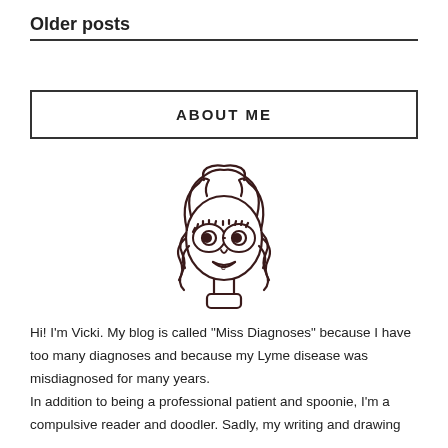Older posts
ABOUT ME
[Figure (illustration): Hand-drawn cartoon illustration of a curly-haired person with large round eyes and an open mouth, shown from the shoulders up.]
Hi! I'm Vicki. My blog is called "Miss Diagnoses" because I have too many diagnoses and because my Lyme disease was misdiagnosed for many years.
In addition to being a professional patient and spoonie, I'm a compulsive reader and doodler. Sadly, my writing and drawing are limited by my conditions, since I have lupus, among other things.